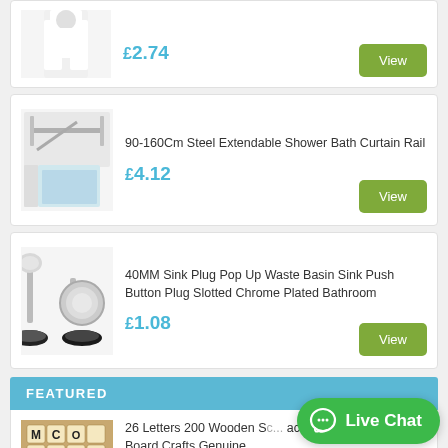[Figure (photo): White bathrobe product image]
£2.74
[Figure (photo): Green view button]
90-160Cm Steel Extendable Shower Bath Curtain Rail
[Figure (photo): Extendable shower curtain rail product image]
£4.12
[Figure (photo): Green view button]
40MM Sink Plug Pop Up Waste Basin Sink Push Button Plug Slotted Chrome Plated Bathroom
[Figure (photo): Chrome sink plug product image]
£1.08
[Figure (photo): Green view button]
FEATURED
26 Letters 200 Wooden Sc... ack Letters Numbers Board Crafts Genuine
[Figure (photo): Scrabble tiles product image]
[Figure (other): WhatsApp Live Chat button overlay]